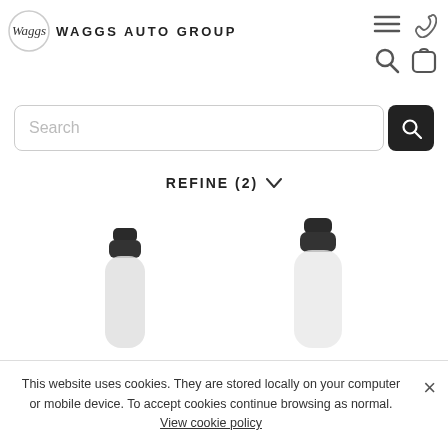[Figure (logo): Waggs Auto Group logo with circular script emblem and bold text]
[Figure (screenshot): Navigation icons: hamburger menu, phone, search, and shopping bag]
[Figure (screenshot): Search bar with dark search button]
REFINE (2)
[Figure (photo): Two water bottles with black caps, partially visible at bottom of page]
This website uses cookies. They are stored locally on your computer or mobile device. To accept cookies continue browsing as normal. View cookie policy